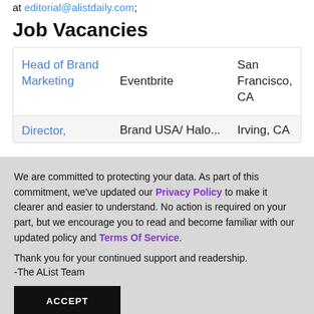at editorial@alistdaily.com;
Job Vacancies
| Job Title | Company | Location |
| --- | --- | --- |
| Head of Brand Marketing | Eventbrite | San Francisco, CA |
| Director, | Brand USA/ Halo... | Irving, CA |
We are committed to protecting your data. As part of this commitment, we've updated our Privacy Policy to make it clearer and easier to understand. No action is required on your part, but we encourage you to read and become familiar with our updated policy and Terms Of Service.

Thank you for your continued support and readership.

-The AList Team
ACCEPT